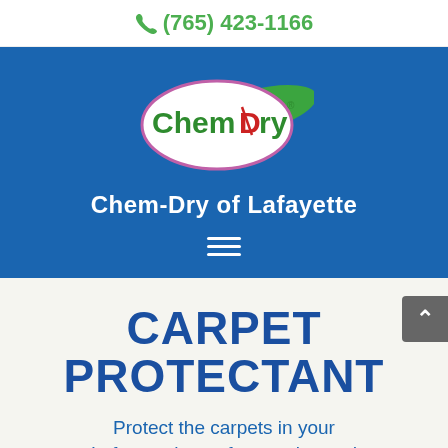(765) 423-1166
[Figure (logo): Chem-Dry logo with white oval, green swoosh, and Chem-Dry text. Below: 'Chem-Dry of Lafayette' in white bold text on blue background. Hamburger menu icon below.]
CARPET PROTECTANT
Protect the carpets in your Lafayette home from stains and